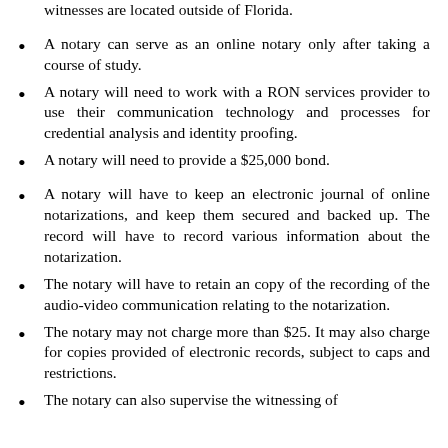witnesses are located outside of Florida.
A notary can serve as an online notary only after taking a course of study.
A notary will need to work with a RON services provider to use their communication technology and processes for credential analysis and identity proofing.
A notary will need to provide a $25,000 bond.
A notary will have to keep an electronic journal of online notarizations, and keep them secured and backed up. The record will have to record various information about the notarization.
The notary will have to retain an copy of the recording of the audio-video communication relating to the notarization.
The notary may not charge more than $25. It may also charge for copies provided of electronic records, subject to caps and restrictions.
The notary can also supervise the witnessing of